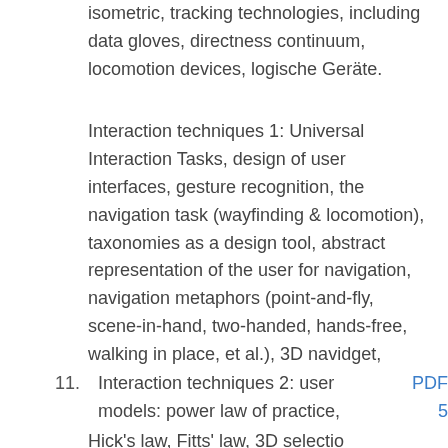isometric, tracking technologies, including data gloves, directness continuum, locomotion devices, logische Geräte.
Interaction techniques 1: Universal Interaction Tasks, design of user interfaces, gesture recognition, the navigation task (wayfinding & locomotion), taxonomies as a design tool, abstract representation of the user for navigation, navigation metaphors (point-and-fly, scene-in-hand, two-handed, hands-free, walking in place, et al.), 3D navidget,
11. Interaction techniques 2: user models: power law of practice, [Hick's law, Fitts' law, 3D selection...]